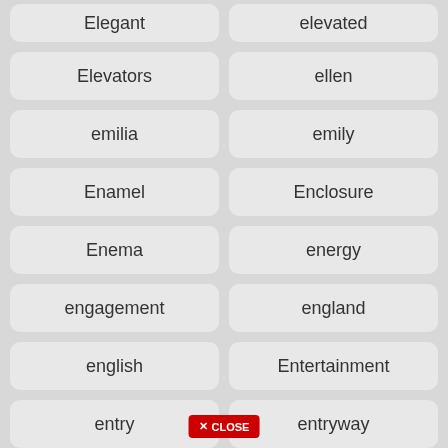Elegant
elevated
Elevators
ellen
emilia
emily
Enamel
Enclosure
Enema
energy
engagement
england
english
Entertainment
entry
entryway
Epoxy
equipment
erin
Escape